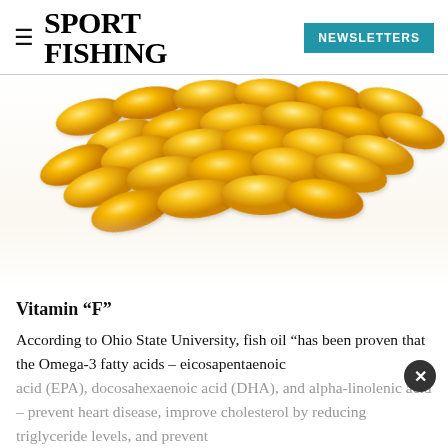SPORT FISHING   NEWSLETTERS
[Figure (photo): Pile of golden yellow fish oil gel capsules/softgels on white background]
Vitamin “F”
According to Ohio State University, fish oil “has been proven that the Omega-3 fatty acids – eicosapentaenoic acid (EPA), docosahexaenoic acid (DHA), and alpha-linolenic acid – prevent heart disease, improve cholesterol by reducing triglyceride levels, and prevent